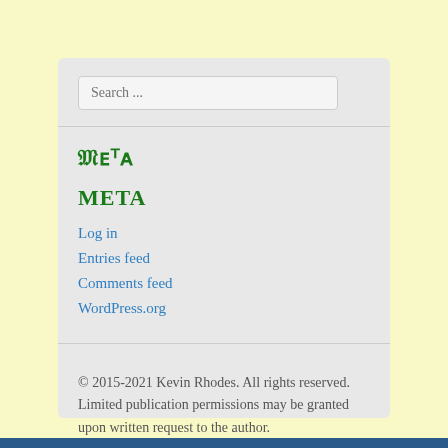Search ...
META
Log in
Entries feed
Comments feed
WordPress.org
© 2015-2021 Kevin Rhodes. All rights reserved. Limited publication permissions may be granted upon written request to the author.